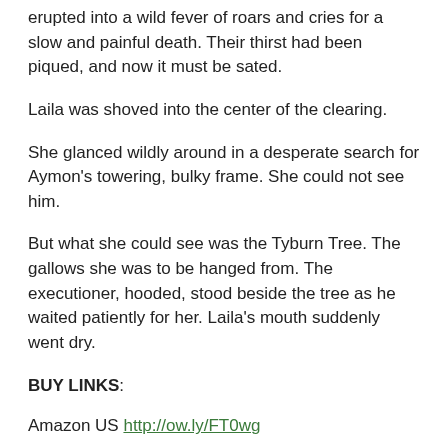erupted into a wild fever of roars and cries for a slow and painful death. Their thirst had been piqued, and now it must be sated.
Laila was shoved into the center of the clearing.
She glanced wildly around in a desperate search for Aymon's towering, bulky frame. She could not see him.
But what she could see was the Tyburn Tree. The gallows she was to be hanged from. The executioner, hooded, stood beside the tree as he waited patiently for her. Laila's mouth suddenly went dry.
BUY LINKS:
Amazon US http://ow.ly/FT0wg
Amazon UK http://ow.ly/FT0CD